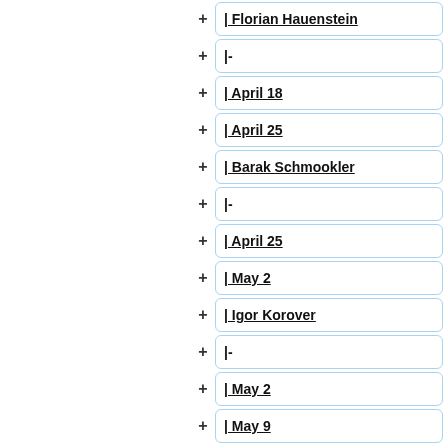+ | Florian Hauenstein
+ |-
+ | April 18
+ | April 25
+ | Barak Schmookler
+ |-
+ | April 25
+ | May 2
+ | Igor Korover
+ |-
+ | May 2
+ | May 9